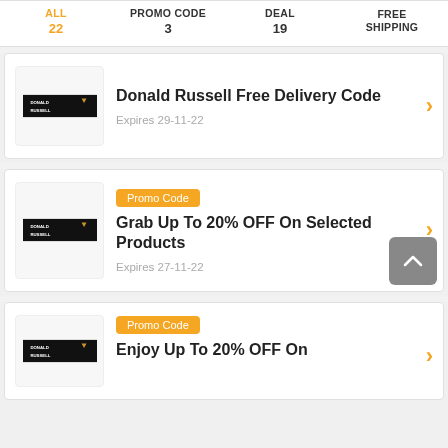ALL 22 | PROMO CODE 3 | DEAL 19 | FREE SHIPPING
Donald Russell Free Delivery Code
Expires 29-11-22
Promo Code
Grab Up To 20% OFF On Selected Products
Expires 27-11-22
Promo Code
Enjoy Up To 20% OFF On